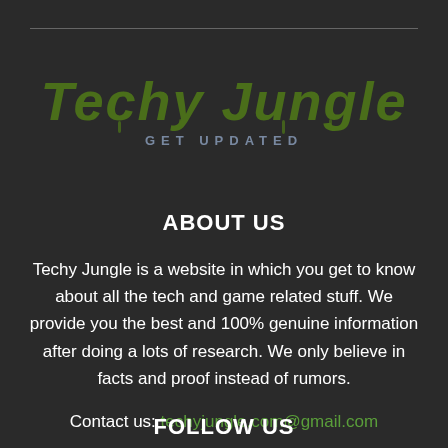[Figure (logo): Techy Jungle logo with green dripping text and 'GET UPDATED' subtitle in gray-blue]
ABOUT US
Techy Jungle is a website in which you get to know about all the tech and game related stuff. We provide you the best and 100% genuine information after doing a lots of research. We only believe in facts and proof instead of rumors.
Contact us: techyjungle.com@gmail.com
FOLLOW US